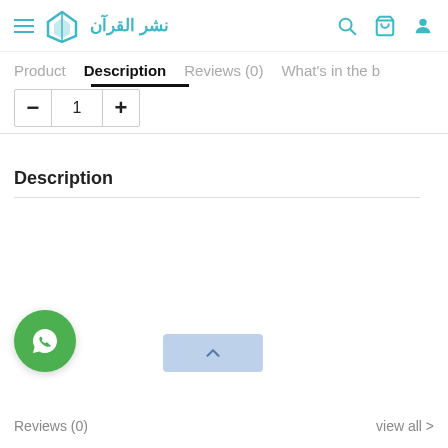نشر القرآن (logo/brand header with navigation icons)
Product   Description   Reviews (0)   What's in the b
− 1 +
Description
[Figure (logo): WhatsApp green circular button icon]
[Figure (other): Light blue scroll-to-top button with upward chevron arrow]
Reviews (0)   view all >